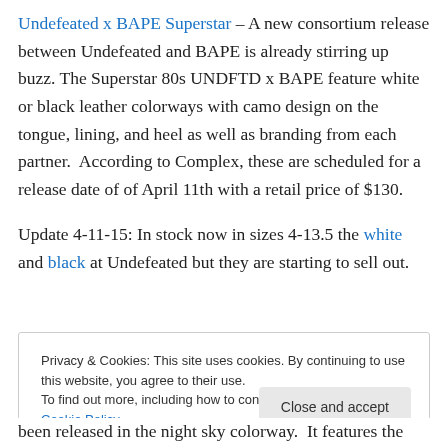Undefeated x BAPE Superstar – A new consortium release between Undefeated and BAPE is already stirring up buzz. The Superstar 80s UNDFTD x BAPE feature white or black leather colorways with camo design on the tongue, lining, and heel as well as branding from each partner.  According to Complex, these are scheduled for a release date of of April 11th with a retail price of $130.
Update 4-11-15: In stock now in sizes 4-13.5 the white and black at Undefeated but they are starting to sell out.
Privacy & Cookies: This site uses cookies. By continuing to use this website, you agree to their use.
To find out more, including how to control cookies, see here: Cookie Policy
been released in the night sky colorway.  It features the